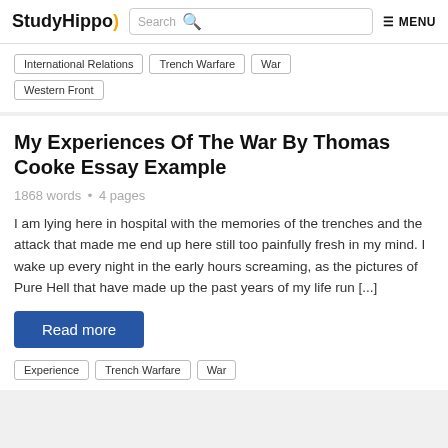StudyHippo | Search | MENU
International Relations
Trench Warfare
War
Western Front
My Experiences Of The War By Thomas Cooke Essay Example
1868 words • 4 pages
I am lying here in hospital with the memories of the trenches and the attack that made me end up here still too painfully fresh in my mind. I wake up every night in the early hours screaming, as the pictures of Pure Hell that have made up the past years of my life run [...]
Read more
Experience
Trench Warfare
War